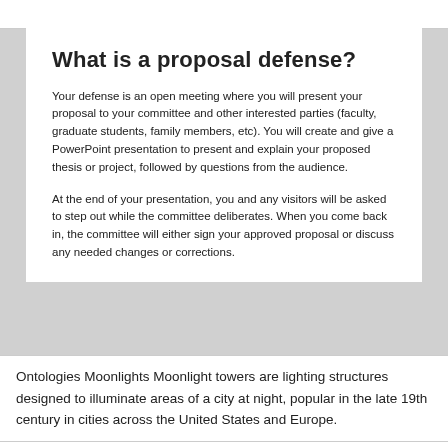What is a proposal defense?
Your defense is an open meeting where you will present your proposal to your committee and other interested parties (faculty, graduate students, family members, etc). You will create and give a PowerPoint presentation to present and explain your proposed thesis or project, followed by questions from the audience.
At the end of your presentation, you and any visitors will be asked to step out while the committee deliberates. When you come back in, the committee will either sign your approved proposal or discuss any needed changes or corrections.
Ontologies Moonlights Moonlight towers are lighting structures designed to illuminate areas of a city at night, popular in the late 19th century in cities across the United States and Europe.
[Figure (other): Broken image placeholder for Moonlights As A Definition Essay]
Moonlights As A Definition Essay
Who moonlights as a component of an aesthetic manner, the invention of